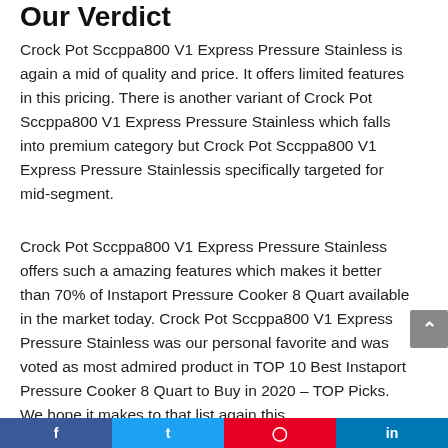Our Verdict
Crock Pot Sccppa800 V1 Express Pressure Stainless is again a mid of quality and price. It offers limited features in this pricing. There is another variant of Crock Pot Sccppa800 V1 Express Pressure Stainless which falls into premium category but Crock Pot Sccppa800 V1 Express Pressure Stainlessis specifically targeted for mid-segment.
Crock Pot Sccppa800 V1 Express Pressure Stainless offers such a amazing features which makes it better than 70% of Instaport Pressure Cooker 8 Quart available in the market today. Crock Pot Sccppa800 V1 Express Pressure Stainless was our personal favorite and was voted as most admired product in TOP 10 Best Instaport Pressure Cooker 8 Quart to Buy in 2020 – TOP Picks. We hope it makes to that list again this…